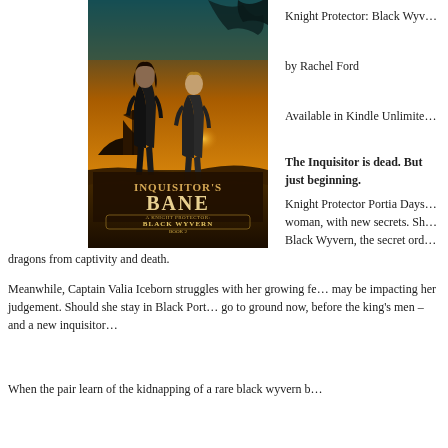[Figure (illustration): Book cover for 'Inquisitor's Bane: A Knight Protector: Black Wyvern Book 2' by Rachel Ford. Shows two women in dark armor/leather standing against a dramatic sunset/storm background with a ship and large fantastical creature. Title text prominently displayed.]
Knight Protector: Black Wyvern
by Rachel Ford
Available in Kindle Unlimited
The Inquisitor is dead. But trouble is just beginning.
Knight Protector Portia Days— woman, with new secrets. She— Black Wyvern, the secret ord— dragons from captivity and death.
Meanwhile, Captain Valia Iceborn struggles with her growing fe— may be impacting her judgement. Should she stay in Black Port— go to ground now, before the king's men – and a new inquisitor—
When the pair learn of the kidnapping of a rare black wyvern b—